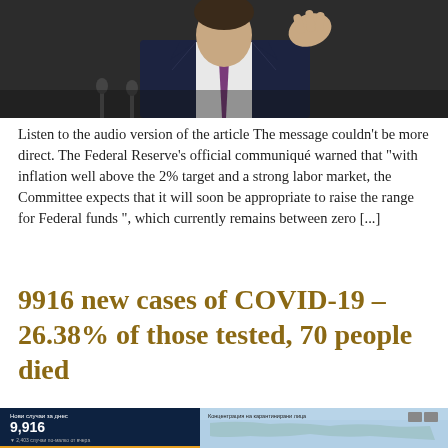[Figure (photo): Man in dark suit with purple tie gesturing with hand, appears to be testifying or speaking at a hearing, dark background]
Listen to the audio version of the article The message couldn't be more direct. The Federal Reserve's official communiqué warned that "with inflation well above the 2% target and a strong labor market, the Committee expects that it will soon be appropriate to raise the range for Federal funds ", which currently remains between zero [...]
9916 new cases of COVID-19 – 26.38% of those tested, 70 people died
[Figure (screenshot): Screenshot of a COVID-19 dashboard showing 9,916 new cases today, 2,403 cases fewer than yesterday, and a map showing concentration of quarantined persons]